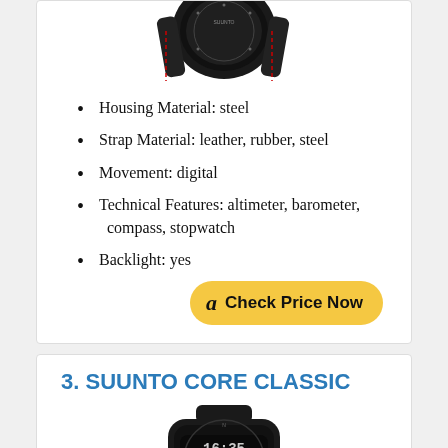[Figure (photo): Suunto watch with black leather strap and red stitching, viewed from above, partially cropped at top]
Housing Material: steel
Strap Material: leather, rubber, steel
Movement: digital
Technical Features: altimeter, barometer, compass, stopwatch
Backlight: yes
[Figure (other): Amazon 'Check Price Now' button in yellow/gold rounded rectangle]
3. SUUNTO CORE CLASSIC
[Figure (photo): Suunto Core Classic watch with black strap and digital face showing 16:35, partially cropped at bottom]